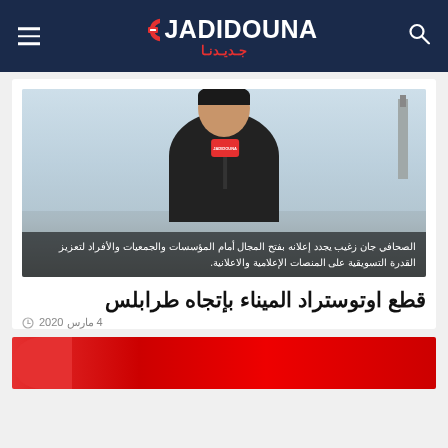JADIDOUNA جديدنا
[Figure (photo): A man in a black polo shirt sitting and holding a microphone with the Jadidouna logo, with a city/industrial background visible through the window behind him. Image caption overlay in Arabic reads: الصحافي جان زغيب يجدد إعلانه بفتح المجال أمام المؤسسات والجمعيات والأفراد لتعزيز القدرة التسويقية على المنصات الإعلامية والاعلانية.]
قطع اوتوستراد الميناء بإتجاه طرابلس
4 مارس 2020
[Figure (photo): Bottom partial image strip showing a red circular element.]